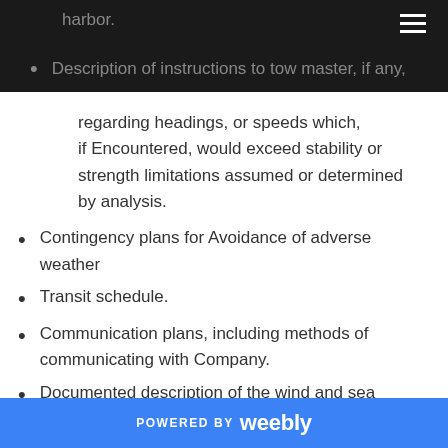harbor.
Description of instructions to tow master, if any, regarding headings, or speeds which, if Encountered, would exceed stability or strength limitations assumed or determined by analysis.
Contingency plans for Avoidance of adverse weather
Transit schedule.
Communication plans, including methods of communicating with Company.
Documented description of the wind and sea conditions expected during the tow.
Weather forecasting services which
POWERED BY weebly